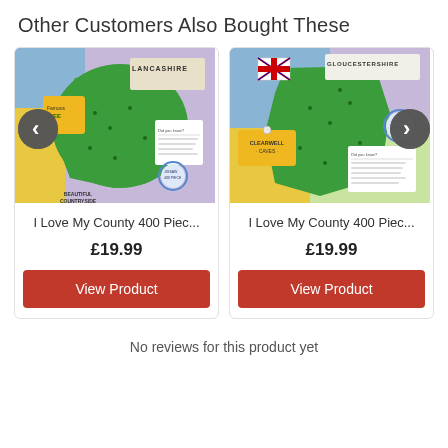Other Customers Also Bought These
[Figure (illustration): Lancashire county puzzle box art showing a green map of Lancashire with labels and decorative elements including 'LANCASHIRE' title, 'TREE' tag, and 'BEAUTIFUL COUNTRYSIDE' text]
I Love My County 400 Piec...
£19.99
View Product
[Figure (illustration): Gloucestershire county puzzle box art showing a green map of Gloucestershire with 'GLOUCESTERSHIRE' title, 'CLEARWELL CAVES' label, a British flag, and decorative elements]
I Love My County 400 Piec...
£19.99
View Product
No reviews for this product yet